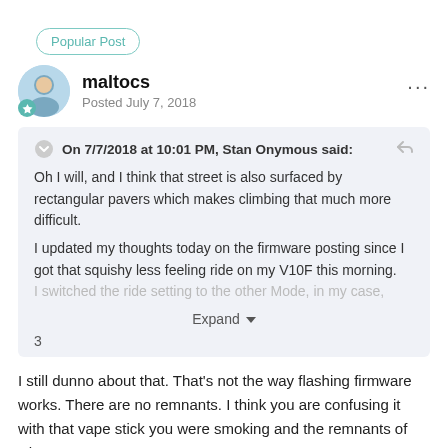Popular Post
maltocs
Posted July 7, 2018
On 7/7/2018 at 10:01 PM, Stan Onymous said:
Oh I will, and I think that street is also surfaced by rectangular pavers which makes climbing that much more difficult.

I updated my thoughts today on the firmware posting since I got that squishy less feeling ride on my V10F this morning. I switched the ride setting to the other Mode, in my case,
Expand
3
I still dunno about that. That's not the way flashing firmware works. There are no remnants. I think you are confusing it with that vape stick you were smoking and the remnants of what was